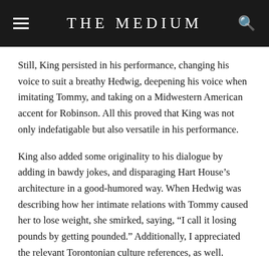THE MEDIUM
Still, King persisted in his performance, changing his voice to suit a breathy Hedwig, deepening his voice when imitating Tommy, and taking on a Midwestern American accent for Robinson. All this proved that King was not only indefatigable but also versatile in his performance.
King also added some originality to his dialogue by adding in bawdy jokes, and disparaging Hart House’s architecture in a good-humored way. When Hedwig was describing how her intimate relations with Tommy caused her to lose weight, she smirked, saying, “I call it losing pounds by getting pounded.” Additionally, I appreciated the relevant Torontonian culture references, as well.
Mayer, too, delivered strong vocal accompaniment to the show.